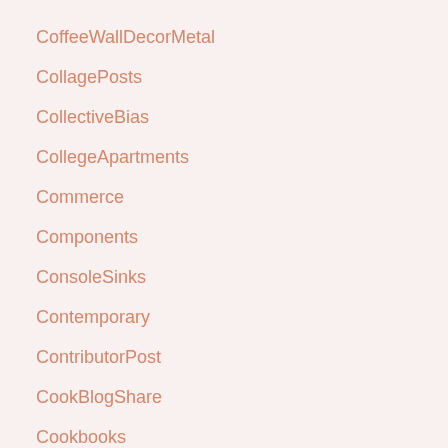CoffeeWallDecorMetal
CollagePosts
CollectiveBias
CollegeApartments
Commerce
Components
ConsoleSinks
Contemporary
ContributorPost
CookBlogShare
Cookbooks
CookeryBook
CookieCutters
cookietime
Cookies